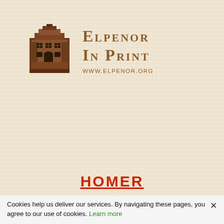[Figure (logo): Elpenor in Print logo: brown illustrated building/house icon]
Elpenor in Print
www.elpenor.org
HOMER
Cookies help us deliver our services. By navigating these pages, you agree to our use of cookies. Learn more